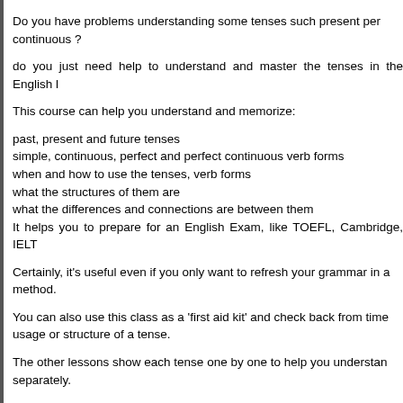Do you have problems understanding some tenses such present perfect continuous ?
do you just need help to understand and master the tenses in the English language?
This course can help you understand and memorize:
past, present and future tenses
simple, continuous, perfect and perfect continuous verb forms
when and how to use the tenses, verb forms
what the structures of them are
what the differences and connections are between them
It helps you to prepare for an English Exam, like TOEFL, Cambridge, IELTS...
Certainly, it's useful even if you only want to refresh your grammar in a fun method.
You can also use this class as a 'first aid kit' and check back from time to time the usage or structure of a tense.
The other lessons show each tense one by one to help you understand them separately.
You will learn :
Know when and how to use the tenses in the English language.